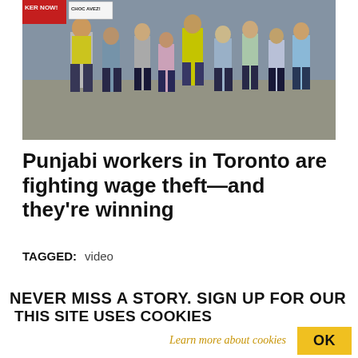[Figure (photo): Protest crowd scene with workers marching, some wearing yellow/green high-visibility vests, carrying signs. A red sign reads 'KER NOW!' and a white sign is partially visible.]
Punjabi workers in Toronto are fighting wage theft—and they're winning
TAGGED: video
NEVER MISS A STORY. SIGN UP FOR OUR
THIS SITE USES COOKIES
This site, like many others, uses small files called cookies to help us improve and customize your experience. Learn more about how we use cookies in our cookie policy.
Learn more about cookies  OK